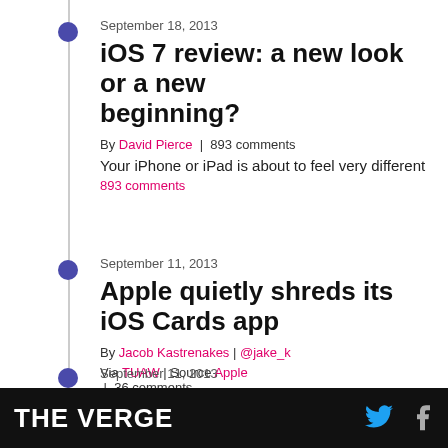September 18, 2013
iOS 7 review: a new look or a new beginning?
By David Pierce | 893 comments
Your iPhone or iPad is about to feel very different
893 comments
September 11, 2013
Apple quietly shreds its iOS Cards app
By Jacob Kastrenakes | @jake_k
Via TUAW | Source Apple | 36 comments
36 comments
September 11, 2013
THE VERGE